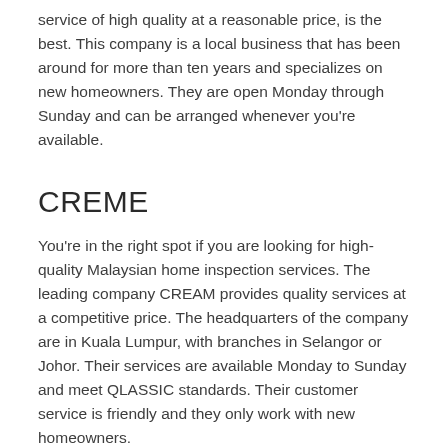service of high quality at a reasonable price, is the best. This company is a local business that has been around for more than ten years and specializes on new homeowners. They are open Monday through Sunday and can be arranged whenever you're available.
CREME
You're in the right spot if you are looking for high-quality Malaysian home inspection services. The leading company CREAM provides quality services at a competitive price. The headquarters of the company are in Kuala Lumpur, with branches in Selangor or Johor. Their services are available Monday to Sunday and meet QLASSIC standards. Their customer service is friendly and they only work with new homeowners.
CAC
The cost of a home inspection in Malaysia is comparatively inexpensive compared to other countries. It is also possible to get a report on the condition of a property in Malaysia from a home inspection company. These reports are detailed and include all relevant information about the property. They can help you make the right decision based on this information. You will be able to